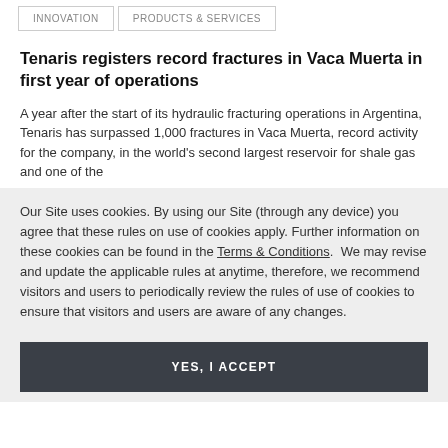INNOVATION    PRODUCTS & SERVICES
Tenaris registers record fractures in Vaca Muerta in first year of operations
A year after the start of its hydraulic fracturing operations in Argentina, Tenaris has surpassed 1,000 fractures in Vaca Muerta, record activity for the company, in the world's second largest reservoir for shale gas and one of the
Our Site uses cookies. By using our Site (through any device) you agree that these rules on use of cookies apply. Further information on these cookies can be found in the Terms & Conditions.  We may revise and update the applicable rules at anytime, therefore, we recommend visitors and users to periodically review the rules of use of cookies to ensure that visitors and users are aware of any changes.
YES, I ACCEPT